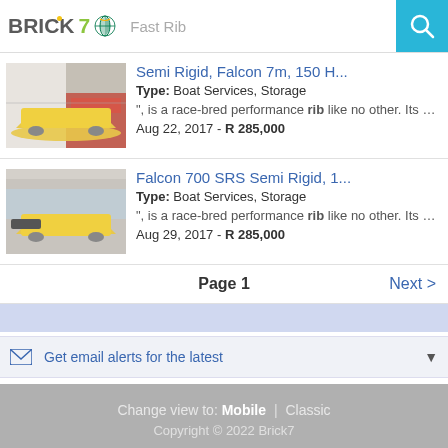BRICK7 | Fast Rib
Semi Rigid, Falcon 7m, 150 H...
Type: Boat Services, Storage
", is a race-bred performance rib like no other. Its design i...
Aug 22, 2017 - R 285,000
Falcon 700 SRS Semi Rigid, 1...
Type: Boat Services, Storage
", is a race-bred performance rib like no other. Its design i...
Aug 29, 2017 - R 285,000
Page 1   Next >
Get email alerts for the latest
Change view to: Mobile | Classic
Copyright © 2022 Brick7